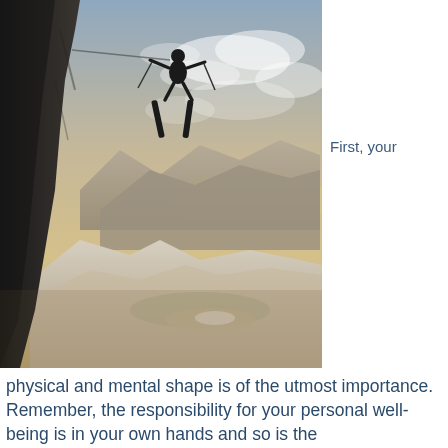[Figure (photo): A skier launched off a steep rocky cliff overhang, captured mid-air with skis pointing upward, against a dramatic wintry mountain landscape with snow-covered slopes, a winding frozen river valley below, and a cloudy sky with golden light on the horizon.]
First, your
physical and mental shape is of the utmost importance. Remember, the responsibility for your personal well-being is in your own hands and so is the